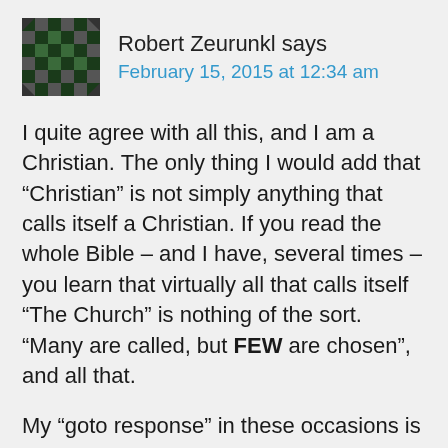Robert Zeurunkl says
February 15, 2015 at 12:34 am
I quite agree with all this, and I am a Christian. The only thing I would add that “Christian” is not simply anything that calls itself a Christian. If you read the whole Bible – and I have, several times – you learn that virtually all that calls itself “The Church” is nothing of the sort. “Many are called, but FEW are chosen”, and all that.
My “goto response” in these occasions is that in truth, those who are truly Christians are very, very few, and the chances are